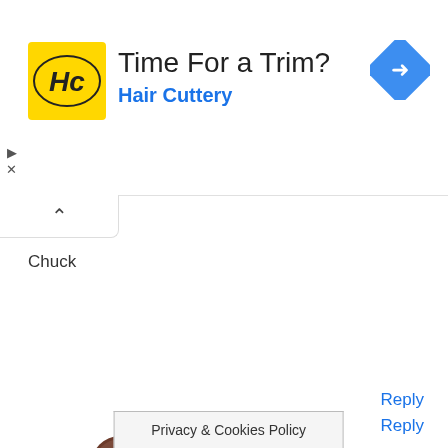[Figure (infographic): Hair Cuttery advertisement banner with yellow HC logo, text 'Time For a Trim?' and 'Hair Cuttery' in blue, and a blue diamond-shaped arrow icon on the right]
Chuck
Reply
NOLAN
JUNE 30, 2013 AT 11:12
The STAP Promotion Process is pretty good. It gives everyone a fair chance to get promoted. Of course, there are still ways to play favorites, but generally speaking it makes sure the people with the most points get promoted first.
Reply
Privacy & Cookies Policy